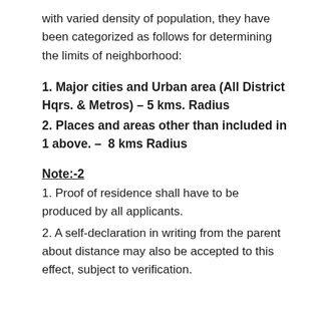with varied density of population, they have been categorized as follows for determining the limits of neighborhood:
1. Major cities and Urban area (All District Hqrs. & Metros) – 5 kms. Radius
2. Places and areas other than included in 1 above. –  8 kms Radius
Note:-2
1. Proof of residence shall have to be produced by all applicants.
2. A self-declaration in writing from the parent about distance may also be accepted to this effect, subject to verification.